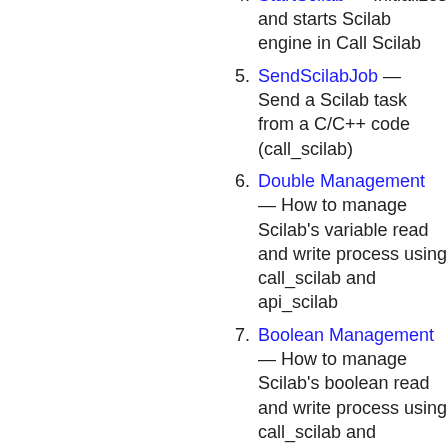compile a native application based on or using Scilab
StartScilab — Initializes and starts Scilab engine in Call Scilab
SendScilabJob — Send a Scilab task from a C/C++ code (call_scilab)
Double Management — How to manage Scilab's variable read and write process using call_scilab and api_scilab
Boolean Management — How to manage Scilab's boolean read and write process using call_scilab and api_scilab
Complex Management — How